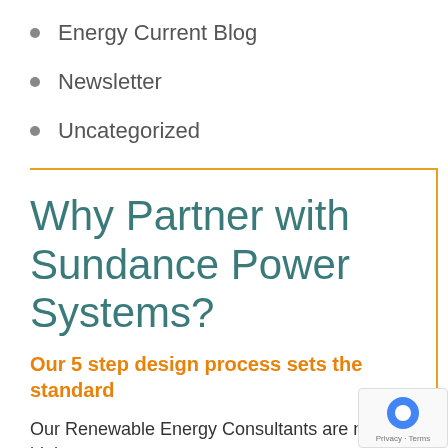Energy Current Blog
Newsletter
Uncategorized
Why Partner with Sundance Power Systems?
Our 5 step design process sets the standard
Our Renewable Energy Consultants are not high-